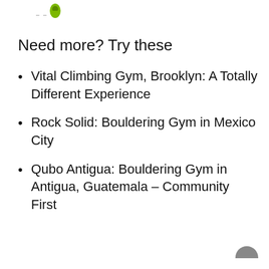Need more? Try these
Vital Climbing Gym, Brooklyn: A Totally Different Experience
Rock Solid: Bouldering Gym in Mexico City
Qubo Antigua: Bouldering Gym in Antigua, Guatemala – Community First